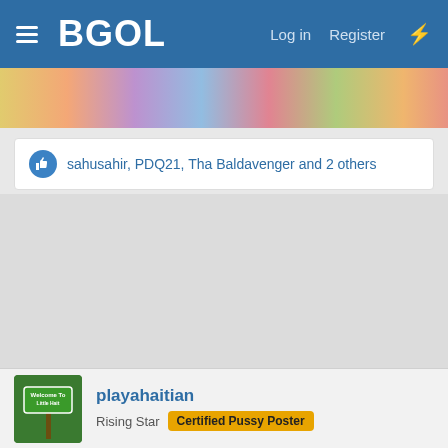BGOL — Log in  Register
[Figure (photo): Colorful partial image strip visible at top below navigation bar]
sahusahir, PDQ21, Tha Baldavenger and 2 others
[Figure (photo): Large gray empty content area]
[Figure (illustration): Avatar showing Welcome To Little Haiti sign, circular badge]
playahaitian
Rising Star  Certified Pussy Poster